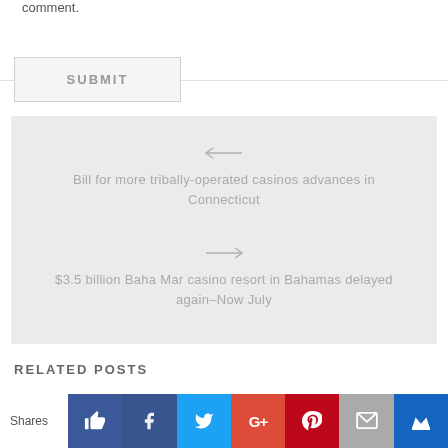comment.
SUBMIT
Bill for more tribally-operated casinos advances in Connecticut
$3.5 billion Baha Mar casino resort in Bahamas delayed again–Now July
RELATED POSTS
Shares